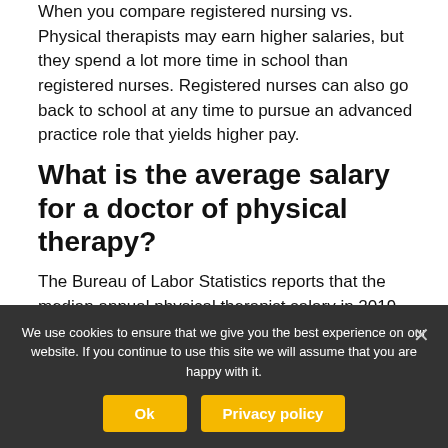When you compare registered nursing vs. Physical therapists may earn higher salaries, but they spend a lot more time in school than registered nurses. Registered nurses can also go back to school at any time to pursue an advanced practice role that yields higher pay.
What is the average salary for a doctor of physical therapy?
The Bureau of Labor Statistics reports that the median annual physical therapist salary in 2019 was $89,440, or $43.00 per hour. The lowest 10 percent earned less than $62,120, while the highest 10 percent earned more than $124,740..
We use cookies to ensure that we give you the best experience on our website. If you continue to use this site we will assume that you are happy with it.